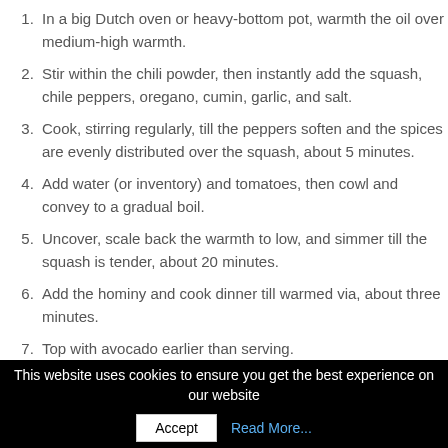In a big Dutch oven or heavy-bottom pot, warmth the oil over medium-high warmth.
Stir within the chili powder, then instantly add the squash, chile peppers, oregano, cumin, garlic, and salt.
Cook, stirring regularly, till the peppers soften and the spices are evenly distributed over the squash, about 5 minutes.
Add water (or inventory) and tomatoes, then cowl and convey to a gradual boil.
Uncover, scale back the warmth to low, and simmer till the squash is tender, about 20 minutes.
Add the hominy and cook dinner till warmed via, about three minutes.
Top with avocado earlier than serving.
This website uses cookies to ensure you get the best experience on our website  Accept  Read More...